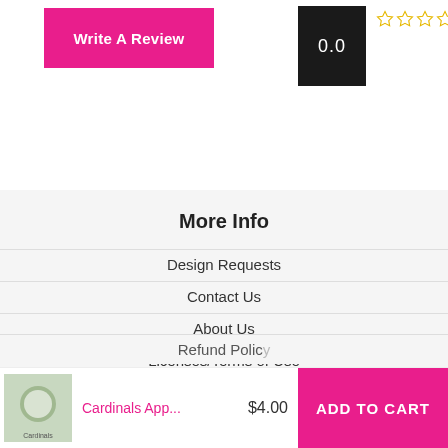[Figure (screenshot): Pink 'Write A Review' button on white background]
[Figure (screenshot): Black box with white '0.0' rating score, and five empty gold star outlines to the right]
More Info
Design Requests
Contact Us
About Us
Licenses/Terms of Use
Privacy Policy
Refund Policy
Terms of Service
Cardinals App...
$4.00
ADD TO CART